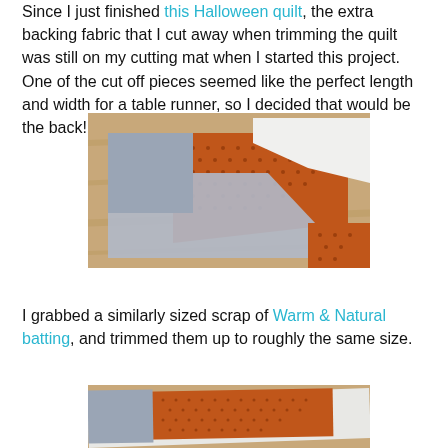Since I just finished this Halloween quilt, the extra backing fabric that I cut away when trimming the quilt was still on my cutting mat when I started this project. One of the cut off pieces seemed like the perfect length and width for a table runner, so I decided that would be the back!
[Figure (photo): Photo of quilt backing fabric pieces on a wooden floor, including a grey square, an orange patterned piece, and a white folded piece of batting]
I grabbed a similarly sized scrap of Warm & Natural batting, and trimmed them up to roughly the same size.
[Figure (photo): Photo showing the orange patterned fabric and grey fabric layered flat on a wooden table, with a white batting piece]